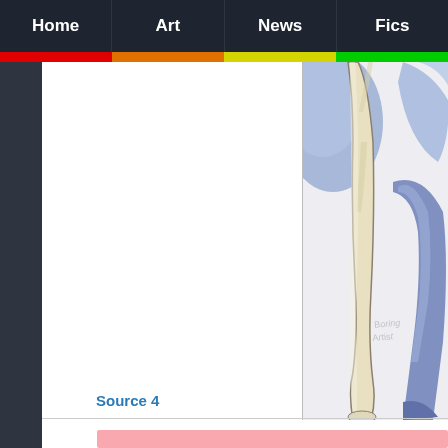Home | Art | News | Fics
[Figure (illustration): Partial view of a cartoon/digital art illustration showing the lower body and legs of a blue and cream-colored character (pony-like), with a watermark signature reading 'Boring Artist' on the leg. The background is light grey.]
Source 4